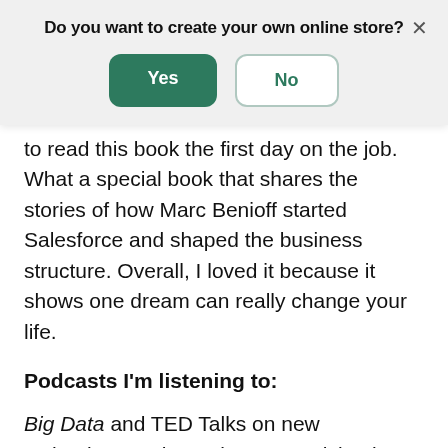[Figure (screenshot): Modal dialog overlay with question 'Do you want to create your own online store?' and two buttons: 'Yes' (green filled) and 'No' (white outlined), with a close X in top right]
to read this book the first day on the job. What a special book that shares the stories of how Marc Benioff started Salesforce and shaped the business structure. Overall, I loved it because it shows one dream can really change your life.
Podcasts I'm listening to:
Big Data and TED Talks on new technology and entrainment evolving in this world.
What I'm studying in school: